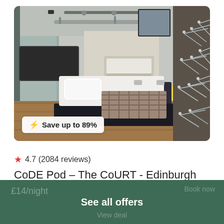[Figure (photo): Hotel room interior showing a bed with white linens and a plaid blanket, mirrored walls, dark wood headboard, warm lighting, and a wall of white clothes hangers on the right side. Badge reads: lightning bolt Save up to 89%]
4.7 (2084 reviews)
CoDE Pod – The CoURT - Edinburgh
Hotel
See all offers